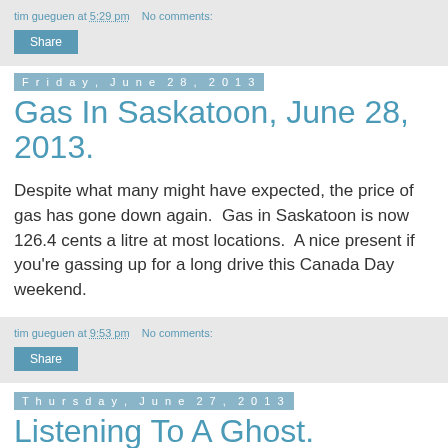tim gueguen at 5:29 pm   No comments:
Share
Friday, June 28, 2013
Gas In Saskatoon, June 28, 2013.
Despite what many might have expected, the price of gas has gone down again.  Gas in Saskatoon is now 126.4 cents a litre at most locations.  A nice present if you're gassing up for a long drive this Canada Day weekend.
tim gueguen at 9:53 pm   No comments:
Share
Thursday, June 27, 2013
Listening To A Ghost.